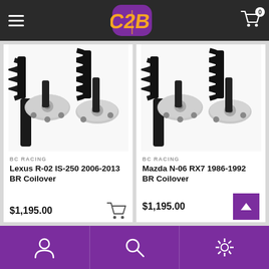C2B logo with hamburger menu and cart icon (0 items)
[Figure (photo): BC Racing coilover suspension product photo - Lexus R-02 IS-250 2006-2013 BR Coilover]
BC RACING
Lexus R-02 IS-250 2006-2013 BR Coilover
$1,195.00
[Figure (photo): BC Racing coilover suspension product photo - Mazda N-06 RX7 1986-1992 BR Coilover]
BC RACING
Mazda N-06 RX7 1986-1992 BR Coilover
$1,195.00
Bottom navigation bar with account, search, and settings icons